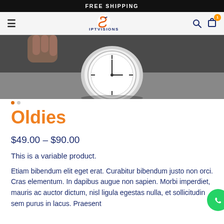FREE SHIPPING
[Figure (screenshot): E-commerce website navigation bar with hamburger menu, IPTVisions logo, search icon, and cart icon with badge showing 1 item]
[Figure (photo): Product photo: close-up of a vintage pocket watch lying on a flat surface]
Oldies
$49.00 – $90.00
This is a variable product.
Etiam bibendum elit eget erat. Curabitur bibendum justo non orci. Cras elementum. In dapibus augue non sapien. Morbi imperdiet, mauris ac auctor dictum, nisl ligula egestas nulla, et sollicitudin sem purus in lacus. Praesent